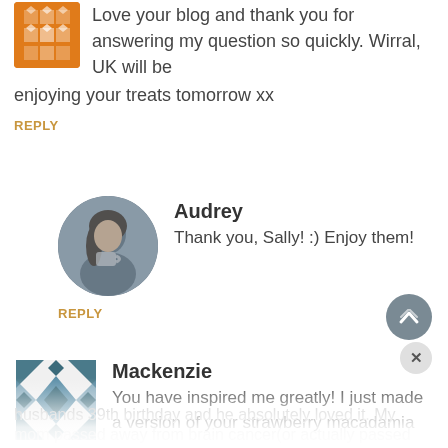Love your blog and thank you for answering my question so quickly. Wirral, UK will be enjoying your treats tomorrow xx
REPLY
[Figure (illustration): Circular avatar photo of Audrey - woman holding a cup]
Audrey
Thank you, Sally! :) Enjoy them!
REPLY
[Figure (illustration): Square avatar with teal geometric snowflake pattern for Mackenzie]
Mackenzie
You have inspired me greatly! I just made a version of your strawberry macadamia "cheesecake" but I substituted cashews and blackberries(which was amazing). I made it for my husbands 39th birthday and he absolutely loved it. My mom passed away from brain cancer(or actually passed
REPLY